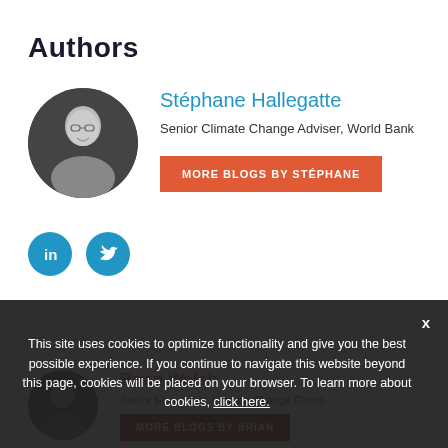Authors
Stéphane Hallegatte
Senior Climate Change Adviser, World Bank
MORE BLOGS BY STÉPHANE
[Figure (photo): Circular portrait photo of Stéphane Hallegatte, black and white]
[Figure (logo): LinkedIn icon - blue circle with 'in' white text]
[Figure (logo): Twitter icon - blue circle with bird white icon]
Brian Walsh
Senior Economist, Climate Change Group
MORE BLOGS BY BRIAN
This site uses cookies to optimize functionality and give you the best possible experience. If you continue to navigate this website beyond this page, cookies will be placed on your browser. To learn more about cookies, click here.
x